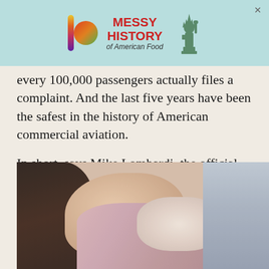[Figure (screenshot): Advertisement banner with colorful IO logo, Statue of Liberty image, text reading MESSY HISTORY of American Food on a teal background, with a close X button]
every 100,000 passengers actually files a complaint. And the last five years have been the safest in the history of American commercial aviation.
In short, says Mike Lombardi, the official historian at Boeing, “One of the great achievements of airplane safety is that people complain about the food.”
[Figure (photo): Blurry photo of a person with dark hair on an airplane, appearing to eat or handle food]